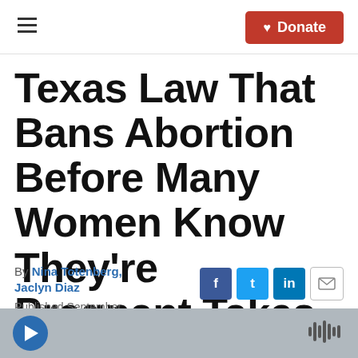≡  ♥ Donate
Texas Law That Bans Abortion Before Many Women Know They're Pregnant Takes Effect
By Nina Totenberg, Jaclyn Diaz
Published September 1, 2021 at 3:01 AM